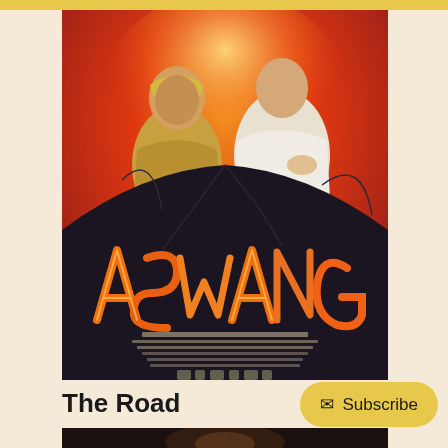[Figure (illustration): Movie poster for 'Aswang' — a Filipino horror film. Dark dramatic composition showing two figures (a woman in a yellow headscarf and a man in white) emerging from orange/red light above a dark volcanic mountain. The title 'ASWANG' is written in large orange stylized brush-stroke lettering across the center. Below the title are small production credits in white text. At the bottom are small logos/icons.]
The Road
Subscribe
[Figure (photo): Bottom edge of a second movie image, partially visible — dark scene with a figure, very little detail visible.]